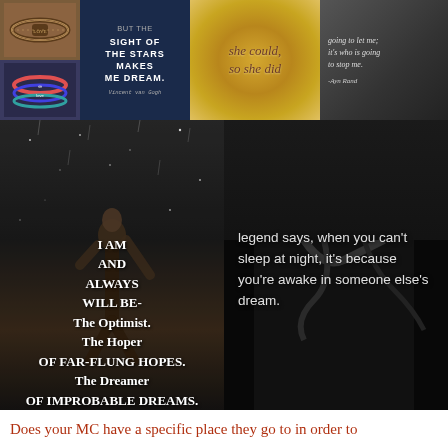[Figure (photo): Collage of inspirational quote images arranged in a grid. Top row: bracelet stack, dark blue quote about stars by Van Gogh, gold glitter background with cursive text 'she could, so she did', dark photo with Ayn Rand quote about being stopped. Bottom row: dark photo of person looking up with optimist quote, dark forest path with legend/dream quote.]
Does your MC have a specific place they go to in order to